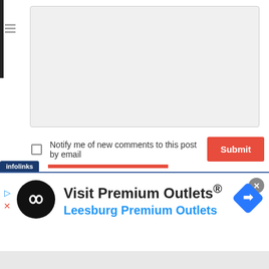[Figure (screenshot): Empty text area input box with light gray background]
Notify me of new comments to this post by email
[Figure (screenshot): Submit button in red with white bold text]
[Figure (screenshot): Infolinks advertisement banner: Visit Premium Outlets® Leesburg Premium Outlets with black circular logo and blue diamond arrow icon]